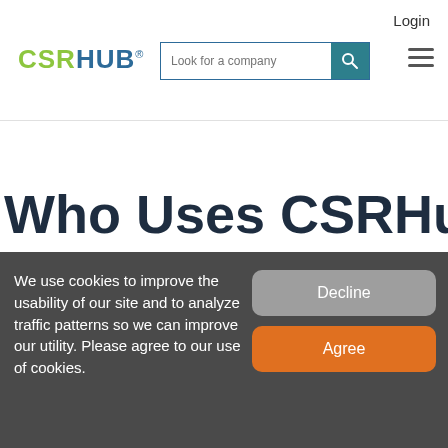Login
[Figure (logo): CSRHUB logo with green CSR and blue HUB text, registered trademark symbol]
Look for a company
Who Uses CSRHub and
We use cookies to improve the usability of our site and to analyze traffic patterns so we can improve our utility. Please agree to our use of cookies.
Decline
Agree